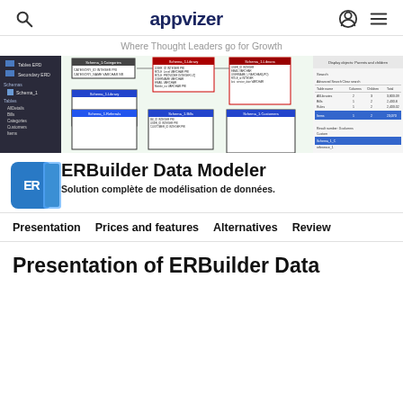appvizer — Where Thought Leaders go for Growth
[Figure (screenshot): Screenshot of ERBuilder Data Modeler software showing database schema diagrams with multiple tables and relationships in a desktop application interface.]
ERBuilder Data Modeler
Solution complète de modélisation de données.
Presentation   Prices and features   Alternatives   Review
Presentation of ERBuilder Data